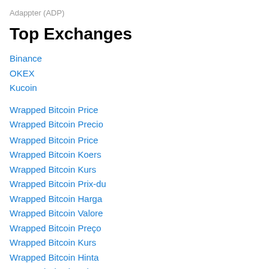Adappter (ADP)
Top Exchanges
Binance
OKEX
Kucoin
Wrapped Bitcoin Price
Wrapped Bitcoin Precio
Wrapped Bitcoin Price
Wrapped Bitcoin Koers
Wrapped Bitcoin Kurs
Wrapped Bitcoin Prix-du
Wrapped Bitcoin Harga
Wrapped Bitcoin Valore
Wrapped Bitcoin Preço
Wrapped Bitcoin Kurs
Wrapped Bitcoin Hinta
Wrapped Bitcoin Pric